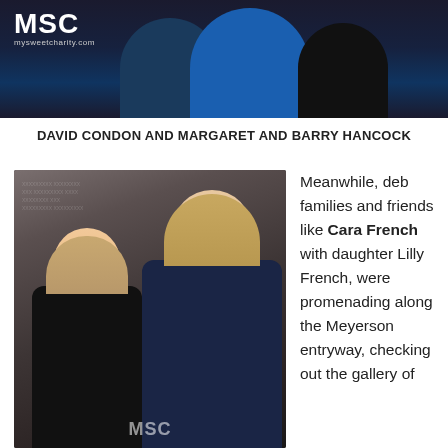[Figure (photo): Photo of David Condon and Margaret and Barry Hancock at a formal event, with MSC mysweetcharity.com logo visible in upper left. Figures against dark background, one person in blue dress.]
DAVID CONDON AND MARGARET AND BARRY HANCOCK
[Figure (photo): Photo of two women posing together at a formal event. A younger woman in a black dress and an older woman in a navy off-shoulder gown. MSC watermark visible at bottom.]
Meanwhile, deb families and friends like Cara French with daughter Lilly French, were promenading along the Meyerson entryway, checking out the gallery of